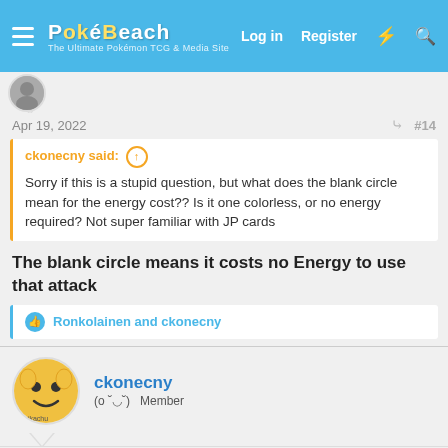PokéBeach — Log in  Register
Apr 19, 2022  #14
ckonecny said: ↑
Sorry if this is a stupid question, but what does the blank circle mean for the energy cost?? Is it one colorless, or no energy required? Not super familiar with JP cards
The blank circle means it costs no Energy to use that attack
Ronkolainen and ckonecny
ckonecny
(o ˘◡˘)  Member
Apr 19, 2022  #15
Timmony_tcg said: ↑